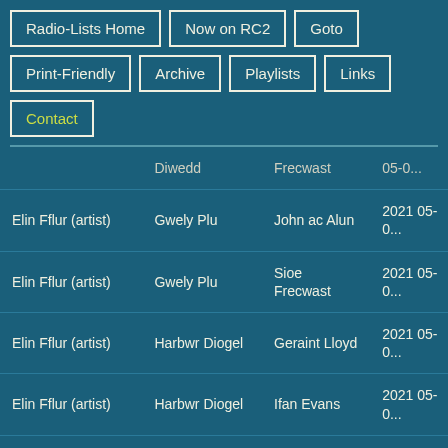Radio-Lists Home
Now on RC2
Goto
Print-Friendly
Archive
Playlists
Links
Contact
| Artist | Album | Programme | Date |
| --- | --- | --- | --- |
|  | Diwedd | Frecwast | 05-0... |
| Elin Fflur (artist) | Gwely Plu | John ac Alun | 2021 05-0... |
| Elin Fflur (artist) | Gwely Plu | Sioe Frecwast | 2021 05-0... |
| Elin Fflur (artist) | Harbwr Diogel | Geraint Lloyd | 2021 05-0... |
| Elin Fflur (artist) | Harbwr Diogel | Ifan Evans | 2021 05-0... |
| Elin Fflur (artist) | Tywysoges Goll | Richard Rees | 2021 05-0... |